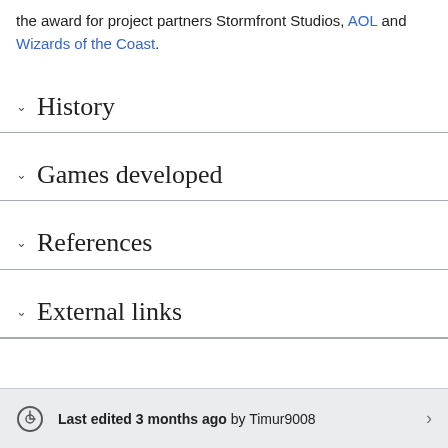the award for project partners Stormfront Studios, AOL and Wizards of the Coast.
History
Games developed
References
External links
Last edited 3 months ago by Timur9008